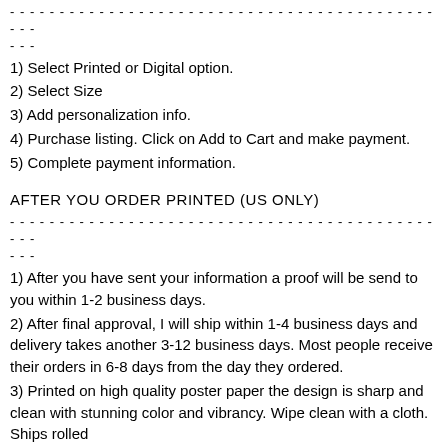- - - - - - - - - - - - - - - - - - - - - - - - - - - - - - - - - - - - - - - - - - - - - -
- - -
1) Select Printed or Digital option.
2) Select Size
3) Add personalization info.
4) Purchase listing. Click on Add to Cart and make payment.
5) Complete payment information.
AFTER YOU ORDER PRINTED (US ONLY)
- - - - - - - - - - - - - - - - - - - - - - - - - - - - - - - - - - - - - - - - - - - - - -
- - -
1) After you have sent your information a proof will be send to you within 1-2 business days.
2) After final approval, I will ship within 1-4 business days and delivery takes another 3-12 business days. Most people receive their orders in 6-8 days from the day they ordered.
3) Printed on high quality poster paper the design is sharp and clean with stunning color and vibrancy. Wipe clean with a cloth. Ships rolled